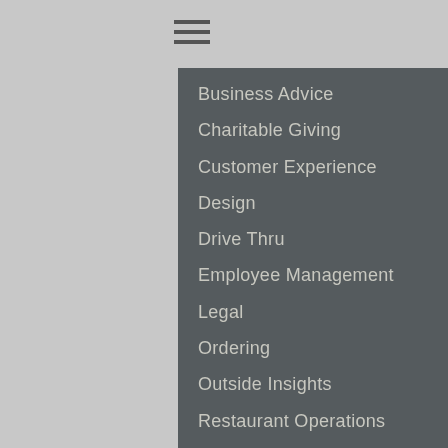Business Advice
Charitable Giving
Customer Experience
Design
Drive Thru
Employee Management
Legal
Ordering
Outside Insights
Restaurant Operations
Start to Finish: What Inspires Execs
Sustainability
Technology
GROWTH
Consumer Trends
Emerging Concepts
Fast Casual